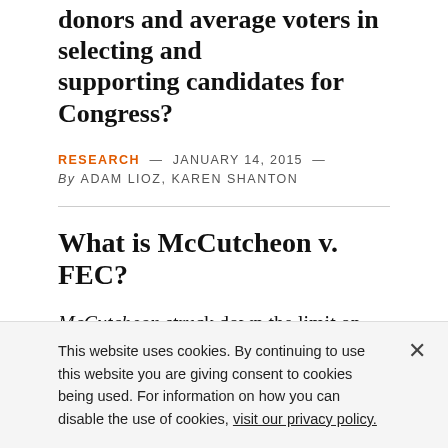donors and average voters in selecting and supporting candidates for Congress?
RESEARCH — JANUARY 14, 2015 — By ADAM LIOZ, KAREN SHANTON
What is McCutcheon v. FEC?
McCutcheon struck down the limit on the total amount that one wealthy donor is permitted to contribute to all federal candidates, parties, and
This website uses cookies. By continuing to use this website you are giving consent to cookies being used. For information on how you can disable the use of cookies, visit our privacy policy.